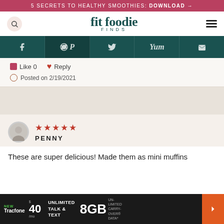5 SECRETS TO HEALTHY SMOOTHIES: DOWNLOAD →
fit foodie FINDS
Like 0   Reply   Posted on 2/19/2021
[Figure (other): Social sharing navigation bar with Facebook, Pinterest, Twitter, Yummly, and Email icons on dark teal background]
★★★★★ PENNY
These are super delicious! Made them as mini muffins
[Figure (other): Advertisement banner: Tracfone NEW $40/mo UNLIMITED TALK & TEXT 8GB UNLIMITED CARRYOVER DATA]